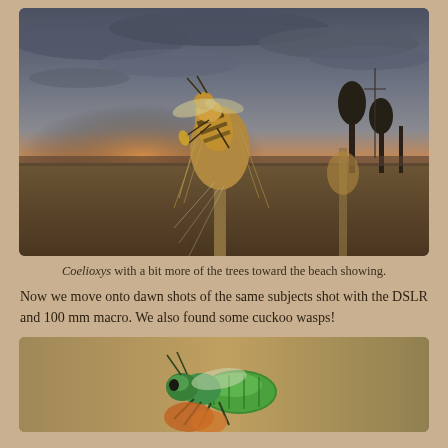[Figure (photo): Close-up macro photograph of a Coelioxys bee resting on a dried thistle or seed head, with a dramatic cloudy dusk sky and trees/landscape visible in the background toward a beach.]
Coelioxys with a bit more of the trees toward the beach showing.
Now we move onto dawn shots of the same subjects shot with the DSLR and 100 mm macro. We also found some cuckoo wasps!
[Figure (photo): Close-up macro photograph of a cuckoo wasp (Chrysididae) with iridescent green coloring, shot at dawn with a DSLR and 100mm macro lens.]